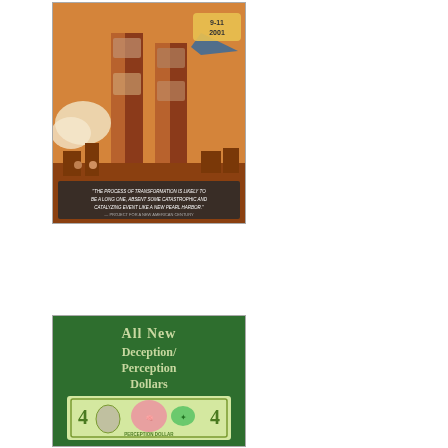[Figure (illustration): Book or poster cover depicting 9-11 2001 imagery with twin towers, faces of figures, a jet plane, and a quote at the bottom: 'The process of transformation is likely to be a long one, absent some catastrophic and catalyzing event like a new Pearl Harbor.' — Project for a New American Century]
[Figure (illustration): Green-background book cover titled 'All New Deception/Perception Dollars' with an image of a novelty dollar bill showing a brain and butterfly design, denominated as 4 dollars, with text 'Perception Dollars' and 'Making the Global Giant']